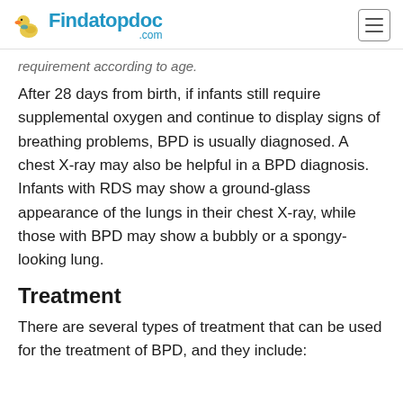Findatopdoc.com
requirement according to age.
After 28 days from birth, if infants still require supplemental oxygen and continue to display signs of breathing problems, BPD is usually diagnosed. A chest X-ray may also be helpful in a BPD diagnosis. Infants with RDS may show a ground-glass appearance of the lungs in their chest X-ray, while those with BPD may show a bubbly or a spongy-looking lung.
Treatment
There are several types of treatment that can be used for the treatment of BPD, and they include: